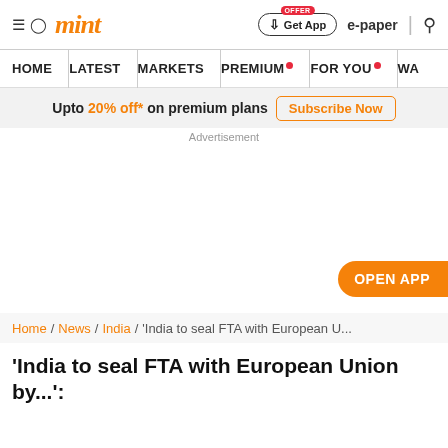mint
HOME | LATEST | MARKETS | PREMIUM | FOR YOU | WA
Upto 20% off* on premium plans  Subscribe Now
Advertisement
[Figure (other): Open App button overlay on advertisement space]
Home / News / India / 'India to seal FTA with European U...'
'India to seal FTA with European Union by...: